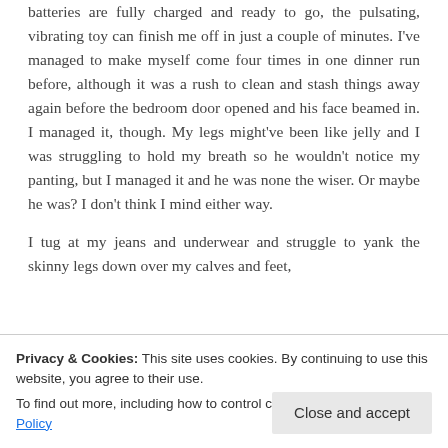batteries are fully charged and ready to go, the pulsating, vibrating toy can finish me off in just a couple of minutes. I've managed to make myself come four times in one dinner run before, although it was a rush to clean and stash things away again before the bedroom door opened and his face beamed in. I managed it, though. My legs might've been like jelly and I was struggling to hold my breath so he wouldn't notice my panting, but I managed it and he was none the wiser. Or maybe he was? I don't think I mind either way.
I tug at my jeans and underwear and struggle to yank the skinny legs down over my calves and feet, dropping a cascade of denim and lace on the floor that...
Privacy & Cookies: This site uses cookies. By continuing to use this website, you agree to their use. To find out more, including how to control cookies, see here: Cookie Policy